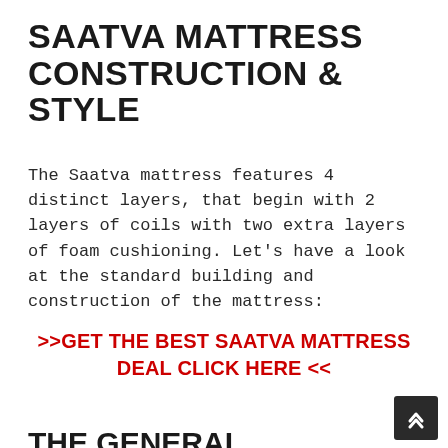SAATVA MATTRESS CONSTRUCTION & STYLE
The Saatva mattress features 4 distinct layers, that begin with 2 layers of coils with two extra layers of foam cushioning. Let's have a look at the standard building and construction of the mattress:
>>GET THE BEST SAATVA MATTRESS DEAL CLICK HERE <<
THE GENERAL BREAKDOWN OF THE SAATVA MATTRESS
Leading layer: Functions an incredibly fluffy and ultra-comfortable euro-top